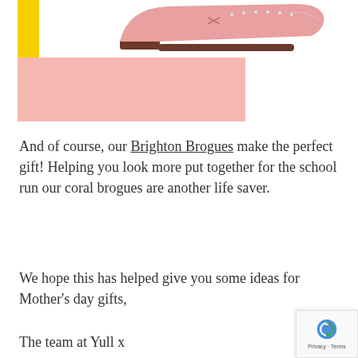[Figure (illustration): A pink brogue shoe on a pink background block with a yellow vertical bar accent on the left side]
And of course, our Brighton Brogues make the perfect gift! Helping you look more put together for the school run our coral brogues are another life saver.
We hope this has helped give you some ideas for Mother's day gifts,
The team at Yull x